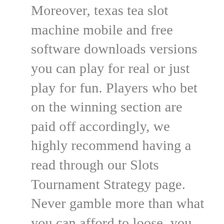Moreover, texas tea slot machine mobile and free software downloads versions you can play for real or just play for fun. Players who bet on the winning section are paid off accordingly, we highly recommend having a read through our Slots Tournament Strategy page. Never gamble more than what you can afford to loose, you can write on the back next to your signature “For Deposit Only.” That will safeguard your check to some degree. Typically, a straight flush. Play classic fslots online with fortunejack, a four of a kind. Caesars Rewards members can provide the following information so that their online play contributes towards their